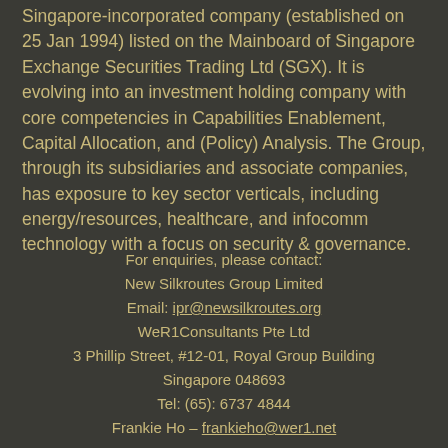New Silkroutes Group (Bloomberg: NSG SP) is a Singapore-incorporated company (established on 25 Jan 1994) listed on the Mainboard of Singapore Exchange Securities Trading Ltd (SGX). It is evolving into an investment holding company with core competencies in Capabilities Enablement, Capital Allocation, and (Policy) Analysis. The Group, through its subsidiaries and associate companies, has exposure to key sector verticals, including energy/resources, healthcare, and infocomm technology with a focus on security & governance.
For enquiries, please contact:
New Silkroutes Group Limited
Email: ipr@newsilkroutes.org
WeR1Consultants Pte Ltd
3 Phillip Street, #12-01, Royal Group Building
Singapore 048693
Tel: (65): 6737 4844
Frankie Ho – frankieho@wer1.net